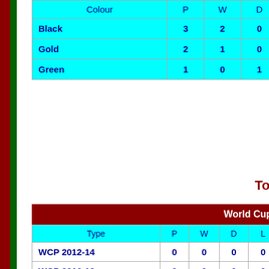| Colour | P | W | D |
| --- | --- | --- | --- |
| Black | 3 | 2 | 0 |
| Gold | 2 | 1 | 0 |
| Green | 1 | 0 | 1 |
Tou
| Type | P | W | D | L |
| --- | --- | --- | --- | --- |
| WCP 2012-14 | 0 | 0 | 0 | 0 |
| WCP 2016-18 | 0 | 0 | 0 | 0 |
| Type | P | W | D | L |
| --- | --- | --- | --- | --- |
| WCF 2014 | 0 | 0 | 0 | 0 |
European Champ